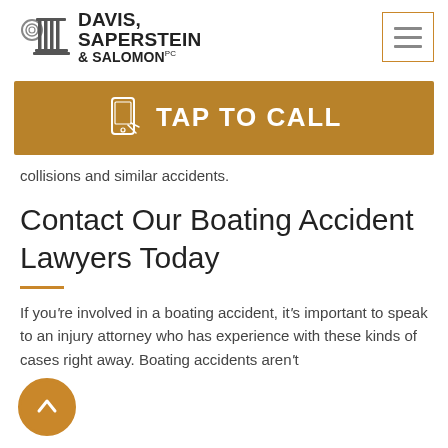[Figure (logo): Davis Saperstein & Salomon PC law firm logo with column icon]
collisions and similar accidents.
Contact Our Boating Accident Lawyers Today
If you're involved in a boating accident, it's important to speak to an injury attorney who has experience with these kinds of cases right away. Boating accidents aren't